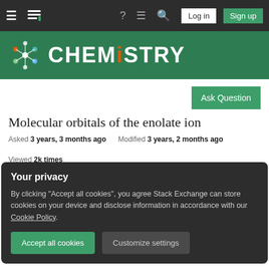Navigation bar with hamburger menu, Stack Exchange logo, help, chat, search icons, Log in and Sign up buttons
[Figure (logo): Chemistry Stack Exchange logo with molecule icon and CHEMISTRY text on green banner]
Ask Question
Molecular orbitals of the enolate ion
Asked 3 years, 3 months ago   Modified 3 years, 2 months ago   Viewed 2k times
The reactivity of the enolate ion is most frequent
Your privacy
By clicking "Accept all cookies", you agree Stack Exchange can store cookies on your device and disclose information in accordance with our Cookie Policy.
Accept all cookies   Customize settings
with the negative charge built up on the oxygen atom is